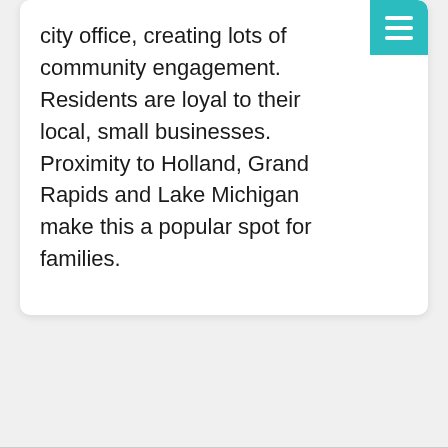city office, creating lots of community engagement. Residents are loyal to their local, small businesses. Proximity to Holland, Grand Rapids and Lake Michigan make this a popular spot for families.